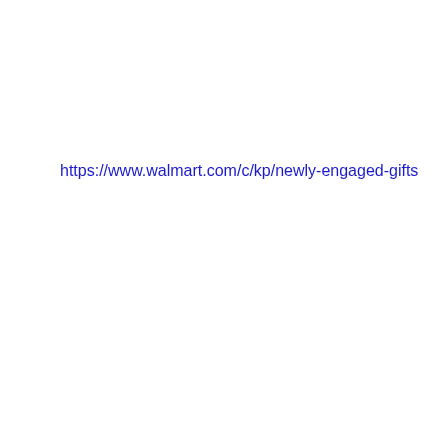https://www.walmart.com/c/kp/newly-engaged-gifts